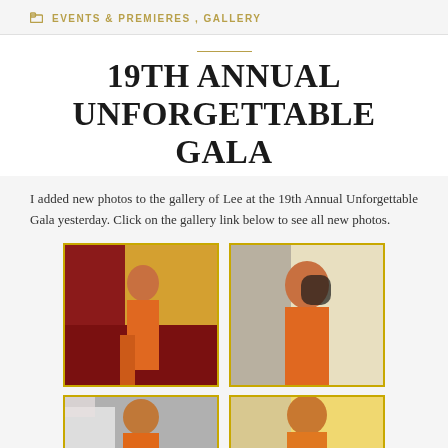EVENTS & PREMIERES , GALLERY
19TH ANNUAL UNFORGETTABLE GALA
I added new photos to the gallery of Lee at the 19th Annual Unforgettable Gala yesterday. Click on the gallery link below to see all new photos.
[Figure (photo): Woman in orange satin dress at red carpet event, full length shot]
[Figure (photo): Woman in orange satin dress at red carpet event, close-up/mid shot]
[Figure (photo): Woman in orange dress at red carpet event, partially visible]
[Figure (photo): Woman with curly hair in orange outfit, partially visible]